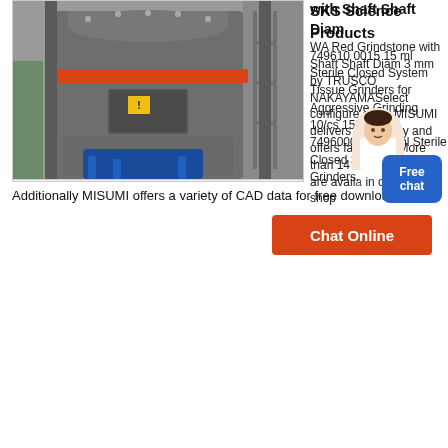[Figure (photo): Large industrial grinding mill machine, grey with red accents, on white background]
with Shaft Shaft Diam WA Red Grindstone with Shaft Shaft Diam 3 mm by TRUSCO NAKAYAMASelect configure order MISUMI delivers punctually and offers fair prices More than 14 million products are available in our online shop
[Figure (photo): Person (customer service representative) overlapping the text area]
Additionally MISUMI offers a variety of CAD data for free download.
[Figure (other): Blue rounded rectangle button with text 'Free chat']
[Figure (other): Orange button with text 'Chat Online']
[Figure (photo): Large industrial vertical mill machine photographed from front, grey body with blue motor base, in industrial setting]
SKS Science Products 749610 0015 15 ml Sterile Closed System Tissue Grinders for Aggressive Grinding 10/cs 159.40 7496000050 50 ml Sterile Closed System Tissue Grinders.